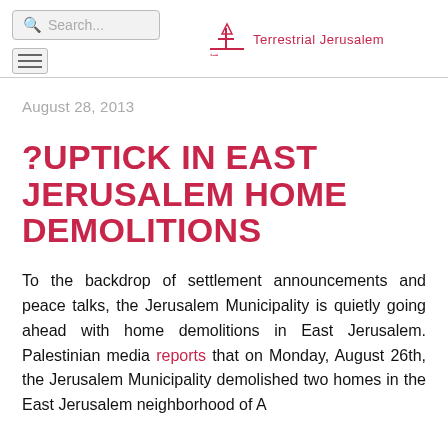Search... | Terrestrial Jerusalem
August 28, 2013
?UPTICK IN EAST JERUSALEM HOME DEMOLITIONS
To the backdrop of settlement announcements and peace talks, the Jerusalem Municipality is quietly going ahead with home demolitions in East Jerusalem. Palestinian media reports that on Monday, August 26th, the Jerusalem Municipality demolished two homes in the East Jerusalem neighborhood of A